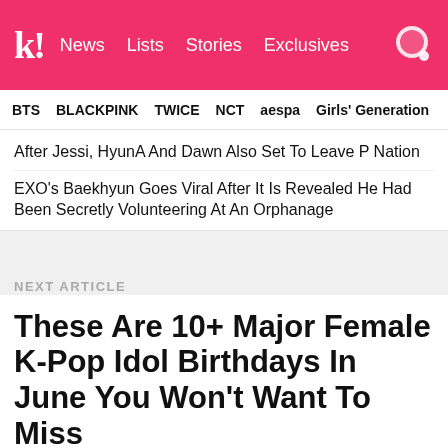k! News  Lists  Stories  Exclusives
BTS  BLACKPINK  TWICE  NCT  aespa  Girls' Generation
After Jessi, HyunA And Dawn Also Set To Leave P Nation
EXO's Baekhyun Goes Viral After It Is Revealed He Had Been Secretly Volunteering At An Orphanage
NEXT ARTICLE
These Are 10+ Major Female K-Pop Idol Birthdays In June You Won't Want To Miss
Whose will you be celebrating?
[Figure (photo): Three partial photos of K-pop idols at the bottom of the page]